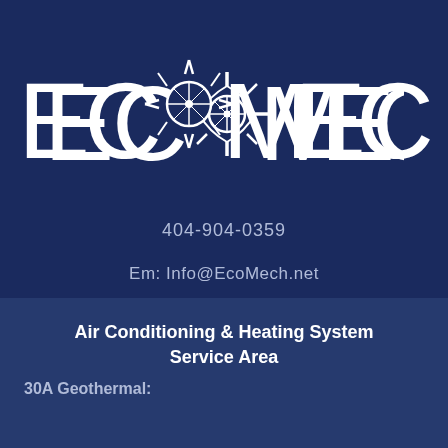[Figure (logo): EcoMech logo with stylized sun/compass graphic replacing the 'O' in ECO, white text on dark blue background]
404-904-0359
Em: Info@EcoMech.net
[Figure (illustration): Social media icons: LinkedIn (in), Houzz (h), Facebook (f)]
Air Conditioning & Heating System Service Area
30A Geothermal: